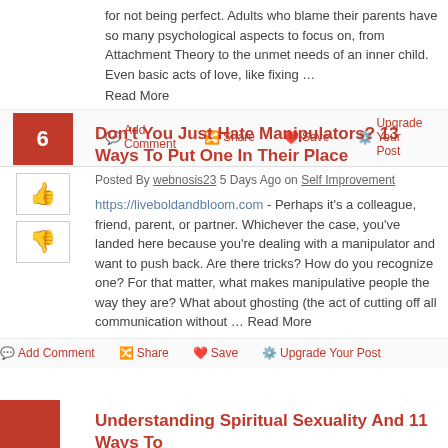for not being perfect. Adults who blame their parents have so many psychological aspects to focus on, from Attachment Theory to the unmet needs of an inner child. Even basic acts of love, like fixing ... Read More
Add Comment
Share
Save
Upgrade Your Post
Don't You Just Hate Manipulators? 13 Ways To Put One In Their Place
Posted By webnosis23 5 Days Ago on Self Improvement
https://liveboldandbloom.com - Perhaps it's a colleague, friend, parent, or partner. Whichever the case, you've landed here because you're dealing with a manipulator and want to push back. Are there tricks? How do you recognize one? For that matter, what makes manipulative people the way they are? What about ghosting (the act of cutting off all communication without ... Read More
Add Comment
Share
Save
Upgrade Your Post
Understanding Spiritual Sexuality And 11 Ways To